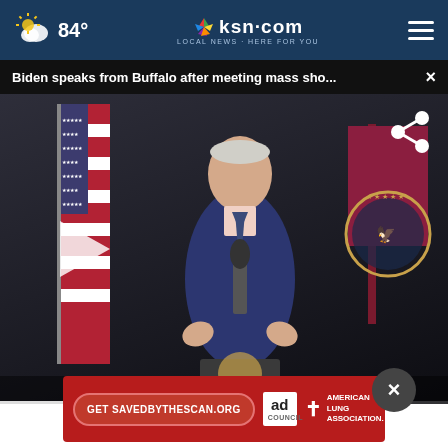84° | ksn.com LOCAL NEWS · HERE FOR YOU
Biden speaks from Buffalo after meeting mass sho...
[Figure (screenshot): Video screenshot of President Biden speaking at a podium with American flags and Presidential seal visible in background. A play button overlay is visible on the left side. A share icon is in the upper right corner.]
[Figure (other): Advertisement banner for SavedBytheScan.org sponsored by Ad Council and American Lung Association. Red background with button 'Get SAVEDBYTHESCAN.ORG']